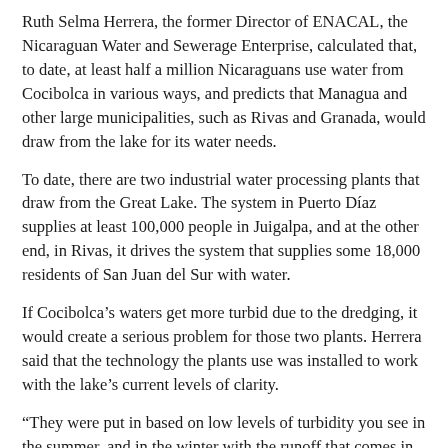Ruth Selma Herrera, the former Director of ENACAL, the Nicaraguan Water and Sewerage Enterprise, calculated that, to date, at least half a million Nicaraguans use water from Cocibolca in various ways, and predicts that Managua and other large municipalities, such as Rivas and Granada, would draw from the lake for its water needs.
To date, there are two industrial water processing plants that draw from the Great Lake. The system in Puerto Díaz supplies at least 100,000 people in Juigalpa, and at the other end, in Rivas, it drives the system that supplies some 18,000 residents of San Juan del Sur with water.
If Cocibolca's waters get more turbid due to the dredging, it would create a serious problem for those two plants. Herrera said that the technology the plants use was installed to work with the lake's current levels of clarity.
“They were put in based on low levels of turbidity you see in the summer, and in the winter with the runoff that comes in, with the natural movement the lake has and with its natural levels of